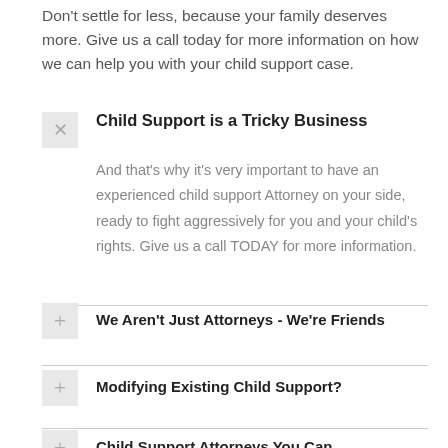Don't settle for less, because your family deserves more. Give us a call today for more information on how we can help you with your child support case.
Child Support is a Tricky Business
And that's why it's very important to have an experienced child support Attorney on your side, ready to fight aggressively for you and your child's rights. Give us a call TODAY for more information.
We Aren't Just Attorneys - We're Friends
Modifying Existing Child Support?
Child Support Attorneys You Can